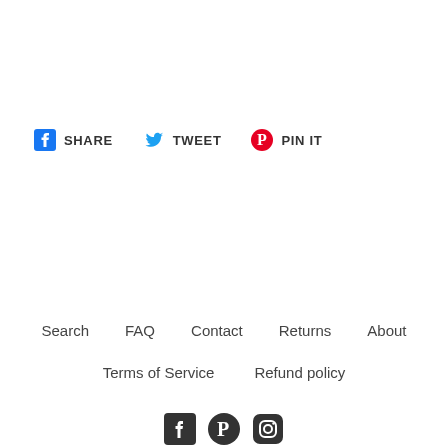SHARE  TWEET  PIN IT
Search  FAQ  Contact  Returns  About  Terms of Service  Refund policy
[Figure (illustration): Social media icons: Facebook, Pinterest, Instagram]